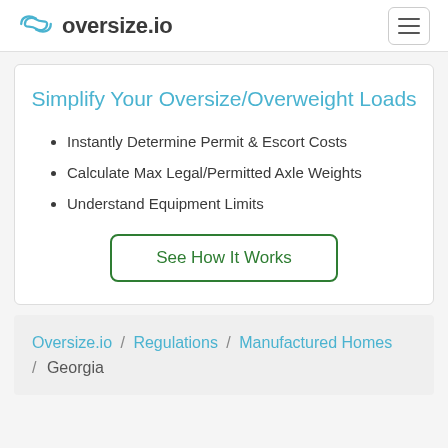oversize.io
Simplify Your Oversize/Overweight Loads
Instantly Determine Permit & Escort Costs
Calculate Max Legal/Permitted Axle Weights
Understand Equipment Limits
See How It Works
Oversize.io / Regulations / Manufactured Homes / Georgia